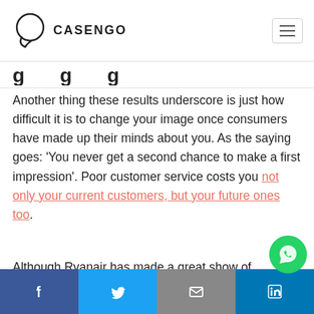CASENGO
...g...g...
Another thing these results underscore is just how difficult it is to change your image once consumers have made up their minds about you. As the saying goes: ‘You never get a second chance to make a first impression’. Poor customer service costs you not only your current customers, but your future ones too.
Although Ryanair has made a great show of changing its ways – and received endless m...
Facebook | Twitter | Email | LinkedIn